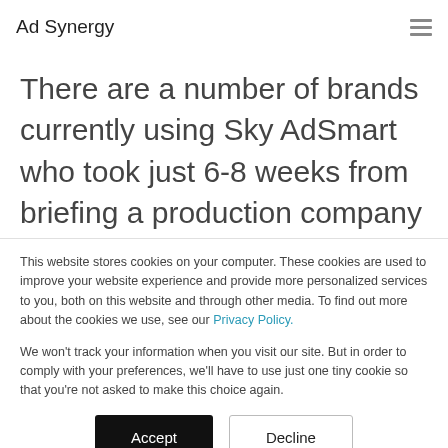Ad Synergy
There are a number of brands currently using Sky AdSmart who took just 6-8 weeks from briefing a production company to getting on air.
This website stores cookies on your computer. These cookies are used to improve your website experience and provide more personalized services to you, both on this website and through other media. To find out more about the cookies we use, see our Privacy Policy.
We won't track your information when you visit our site. But in order to comply with your preferences, we'll have to use just one tiny cookie so that you're not asked to make this choice again.